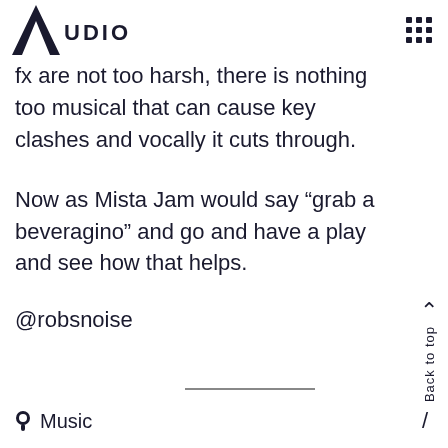Audio
fx are not too harsh, there is nothing too musical that can cause key clashes and vocally it cuts through.
Now as Mista Jam would say “grab a beveragino” and go and have a play and see how that helps.
@robsnoise
Music